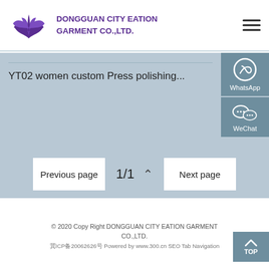DONGGUAN CITY EATION GARMENT CO.,LTD.
YT02 women custom Press polishing...
[Figure (other): WhatsApp contact button on right side]
[Figure (other): WeChat contact button on right side]
Previous page   1/1   Next page
© 2020 Copy Right DONGGUAN CITY EATION GARMENT CO.,LTD.
冀ICP备20062626号 Powered by www.300.cn SEO Tab Navigation